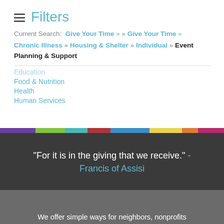Filters
Current Search: Give Your Time » » Give Your Time » Chronic Illness » Housing & Shelter » Individual » Event Planning & Support
Education
Food & Nutrition
Health
Human Services
"For it is in the giving that we receive." - Francis of Assisi
We offer simple ways for neighbors, nonprofits